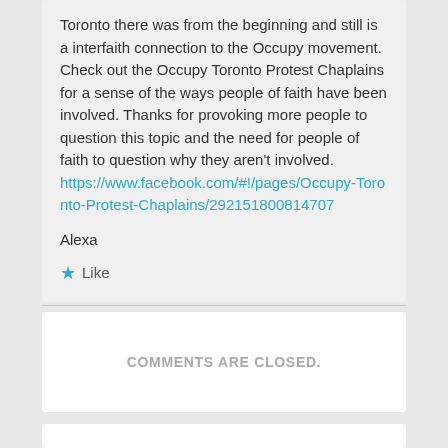Toronto there was from the beginning and still is a interfaith connection to the Occupy movement. Check out the Occupy Toronto Protest Chaplains for a sense of the ways people of faith have been involved. Thanks for provoking more people to question this topic and the need for people of faith to question why they aren't involved. https://www.facebook.com/#!/pages/Occupy-Toronto-Protest-Chaplains/292151800814707
Alexa
★ Like
COMMENTS ARE CLOSED.